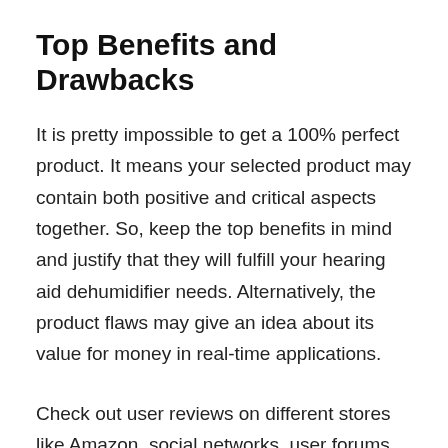Top Benefits and Drawbacks
It is pretty impossible to get a 100% perfect product. It means your selected product may contain both positive and critical aspects together. So, keep the top benefits in mind and justify that they will fulfill your hearing aid dehumidifier needs. Alternatively, the product flaws may give an idea about its value for money in real-time applications.
Check out user reviews on different stores like Amazon, social networks, user forums, and the manufacturer website. It may clarify the top pros and cons for necessary product comparison. In this case, we are already ahead of reviewing them. We are not suggesting doing massive works; look